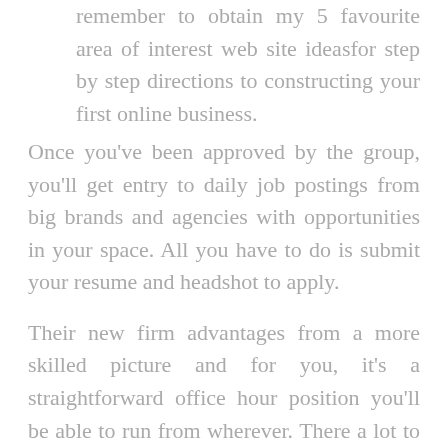remember to obtain my 5 favourite area of interest web site ideasfor step by step directions to constructing your first online business.
Once you've been approved by the group, you'll get entry to daily job postings from big brands and agencies with opportunities in your space. All you have to do is submit your resume and headshot to apply.
Their new firm advantages from a more skilled picture and for you, it's a straightforward office hour position you'll be able to run from wherever. There a lot to think about as a small business proprietor and never everybody is a whizz at social media. If it's one thing you're good at, you possibly